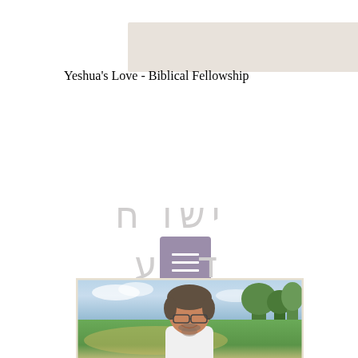[Figure (other): Banner/advertisement placeholder rectangle in beige/tan color]
Yeshua's Love - Biblical Fellowship
[Figure (other): Purple hamburger menu button with three white horizontal lines]
ישוע (Hebrew letters for Yeshua) displayed in large light gray text
[Figure (photo): Photo of a middle-aged man with gray-streaked hair, glasses, beard and mustache, smiling, wearing a white shirt, outdoors with trees and sky in background]